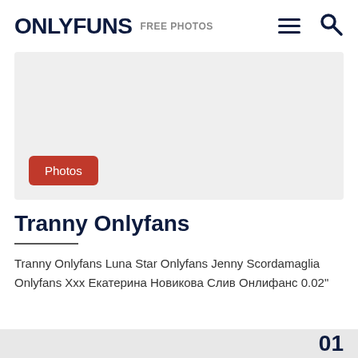ONLYFUNS FREE PHOTOS
[Figure (other): Gray placeholder image block with a red 'Photos' button in the lower left corner]
Tranny Onlyfans
Tranny Onlyfans Luna Star Onlyfans Jenny Scordamaglia Onlyfans Xxx Екатерина Новикова Слив Онлифанс 0.02"
01